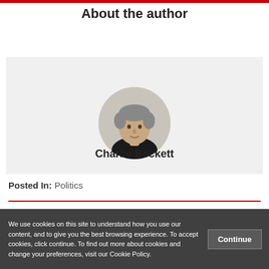About the author
[Figure (photo): Circular headshot photograph of author Charlie Beckett, a middle-aged man with grey hair wearing a black top]
Charlie Beckett
Posted In: Politics
We use cookies on this site to understand how you use our content, and to give you the best browsing experience. To accept cookies, click continue. To find out more about cookies and change your preferences, visit our Cookie Policy.